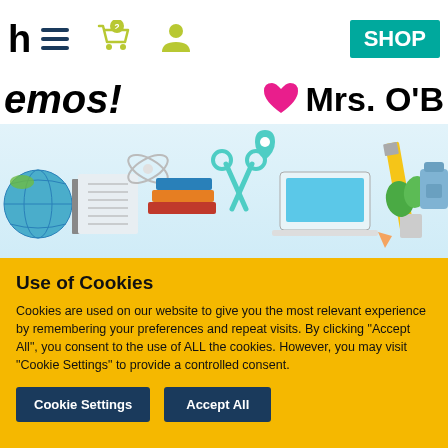h  ☰  🛒2  👤  SHOP  emos!  ♥ Mrs. O'B
[Figure (illustration): School supplies banner illustration with globe, books, scissors, laptop, pencil, plant, and backpack icons on light blue background]
[Figure (photo): Partial photo of a person (teacher) with dark hair and sunglasses visible at top, classroom background]
Use of Cookies
Cookies are used on our website to give you the most relevant experience by remembering your preferences and repeat visits. By clicking "Accept All", you consent to the use of ALL the cookies. However, you may visit "Cookie Settings" to provide a controlled consent.
Cookie Settings   Accept All